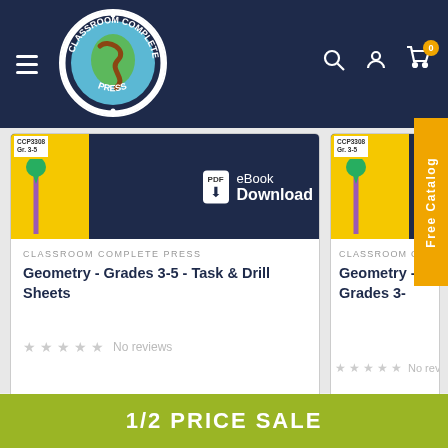[Figure (logo): Classroom Complete Press circular logo with snake/earthworm graphic and blue globe]
[Figure (screenshot): Product listing page showing two Geometry Grades 3-5 book cards with eBook Download badge]
CLASSROOM COMPLETE PRESS
Geometry - Grades 3-5 - Task & Drill Sheets
No reviews
CLASSROOM COMPLETE PRESS
Geometry - Grades 3-
No reviews
Free Catalog
1/2 PRICE SALE